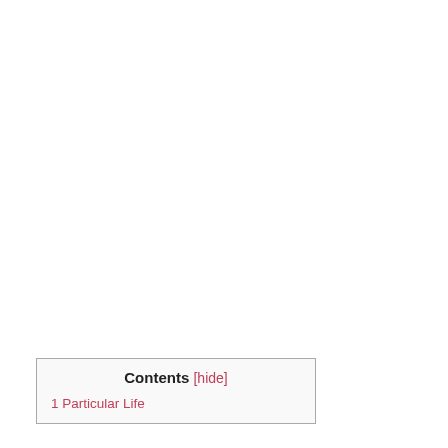| Contents [hide] |
| 1 Particular Life |